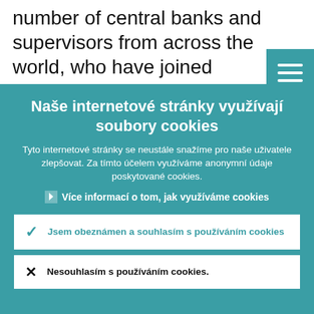number of central banks and supervisors from across the world, who have joined forces in the NGFS. Importantly, they are also calling on the institutions they
Naše internetové stránky využívají soubory cookies
Tyto internetové stránky se neustále snažíme pro naše uživatele zlepšovat. Za tímto účelem využíváme anonymní údaje poskytované cookies.
› Více informací o tom, jak využíváme cookies
Jsem obeznámen a souhlasím s používáním cookies
Nesouhlasím s používáním cookies.